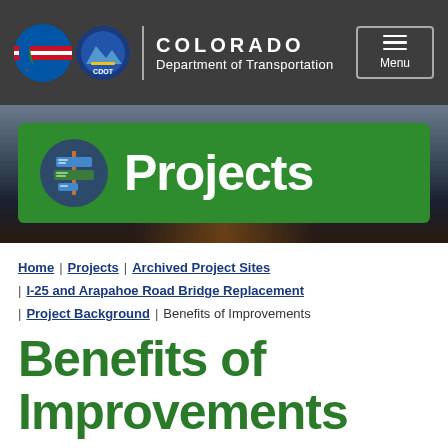COLORADO Department of Transportation
[Figure (screenshot): CDOT Projects banner with road sign icon on green background over highway night photo]
Home | Projects | Archived Project Sites | I-25 and Arapahoe Road Bridge Replacement | Project Background | Benefits of Improvements
Benefits of Improvements